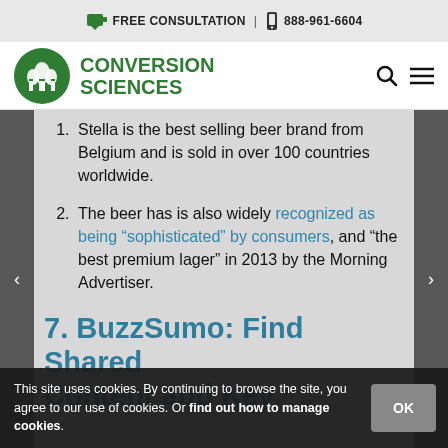FREE CONSULTATION | 888-961-6604
[Figure (logo): Conversion Sciences logo with green circle and tree icon]
Stella is the best selling beer brand from Belgium and is sold in over 100 countries worldwide.
The beer has is also widely recognized as being “sophisticated” by consumers, and “the best premium lager” in 2013 by the Morning Advertiser.
7. BuzzSumo: Find Shared Content and Key
This site uses cookies. By continuing to browse the site, you agree to our use of cookies. Or find out how to manage cookies.